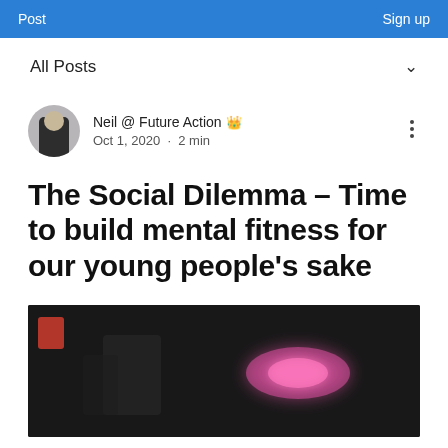Post   Sign up
All Posts
Neil @ Future Action  Oct 1, 2020 · 2 min
The Social Dilemma – Time to build mental fitness for our young people's sake
[Figure (photo): Dark thumbnail image with red Netflix-style logo mark on left and pink/purple glowing orb effect on right, with a blurred figure silhouette in foreground]